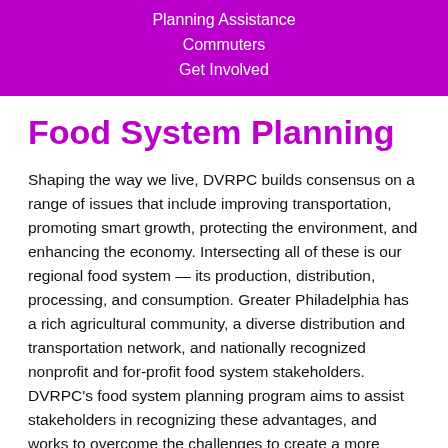Planning Assistance
Commuters
Get Involved
Food System Planning
Shaping the way we live, DVRPC builds consensus on a range of issues that include improving transportation, promoting smart growth, protecting the environment, and enhancing the economy. Intersecting all of these is our regional food system — its production, distribution, processing, and consumption. Greater Philadelphia has a rich agricultural community, a diverse distribution and transportation network, and nationally recognized nonprofit and for-profit food system stakeholders. DVRPC's food system planning program aims to assist stakeholders in recognizing these advantages, and works to overcome the challenges to create a more